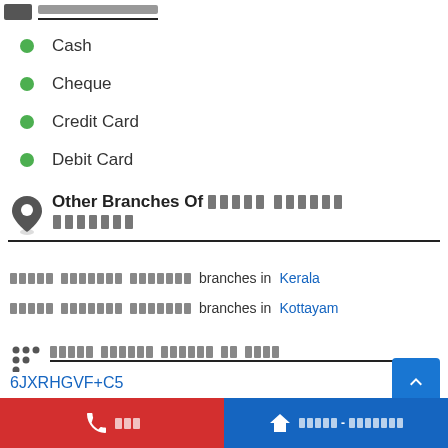[redacted header with icon]
Cash
Cheque
Credit Card
Debit Card
Other Branches Of [redacted] [redacted]
[redacted] branches in Kerala
[redacted] branches in Kottayam
[redacted section title]
6JXRHGVF+C5
[redacted footer section]
[call] [redacted] | [directions] [redacted]